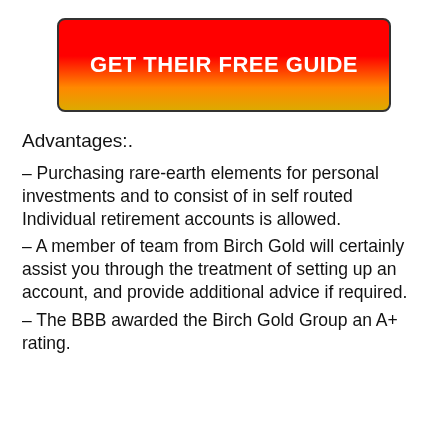[Figure (other): Red-to-yellow gradient button with white bold text reading GET THEIR FREE GUIDE]
Advantages:.
– Purchasing rare-earth elements for personal investments and to consist of in self routed Individual retirement accounts is allowed.
– A member of team from Birch Gold will certainly assist you through the treatment of setting up an account, and provide additional advice if required.
– The BBB awarded the Birch Gold Group an A+ rating.